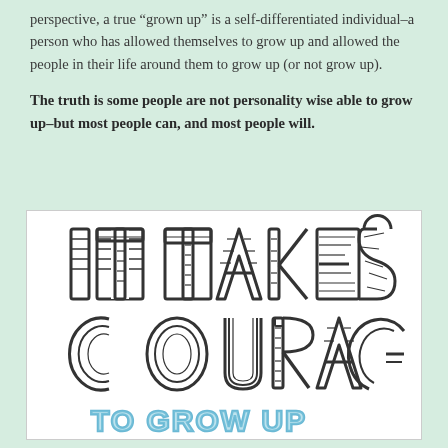perspective, a true “grown up” is a self-differentiated individual–a person who has allowed themselves to grow up and allowed the people in their life around them to grow up (or not grow up).

The truth is some people are not personality wise able to grow up–but most people can, and most people will.
[Figure (illustration): Hand-drawn lettering illustration showing the text 'IT TAKES COURAGE TO GROW UP'. 'IT TAKES' and 'COURAGE' are in bold block letters with horizontal line details inside, outlined in dark ink. 'TO GROW UP' is in lighter blue bubble letters.]